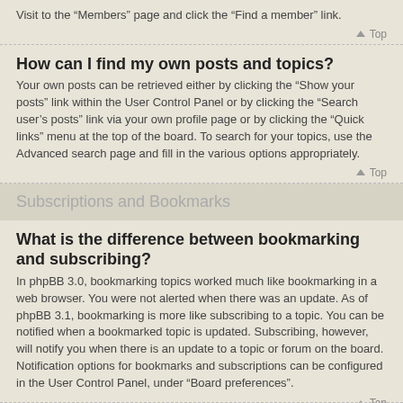Visit to the “Members” page and click the “Find a member” link.
▲ Top
How can I find my own posts and topics?
Your own posts can be retrieved either by clicking the “Show your posts” link within the User Control Panel or by clicking the “Search user’s posts” link via your own profile page or by clicking the “Quick links” menu at the top of the board. To search for your topics, use the Advanced search page and fill in the various options appropriately.
▲ Top
Subscriptions and Bookmarks
What is the difference between bookmarking and subscribing?
In phpBB 3.0, bookmarking topics worked much like bookmarking in a web browser. You were not alerted when there was an update. As of phpBB 3.1, bookmarking is more like subscribing to a topic. You can be notified when a bookmarked topic is updated. Subscribing, however, will notify you when there is an update to a topic or forum on the board. Notification options for bookmarks and subscriptions can be configured in the User Control Panel, under “Board preferences”.
▲ Top